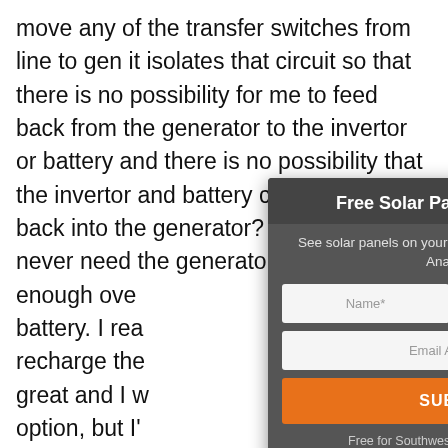move any of the transfer switches from line to gen it isolates that circuit so that there is no possibility for me to feed back from the generator to the invertor or battery and there is no possibility that the invertor and battery can ever feed back into the generator? I'm hoping I never need the generator, but with enough ove battery. I rea recharge the great and I w option, but I' more money bad weathe comments.
[Figure (screenshot): A modal popup overlay titled 'Free Solar Panel Layout!' with a chevron/close icon. Contains subtitle text 'See solar panels on your home with a 3D Computer Analysis!', two side-by-side input fields (Name*, Phone Number*), one full-width input (Email Address*), an orange SUBMIT button, and footer text 'Free for Southwest Florida Residents!']